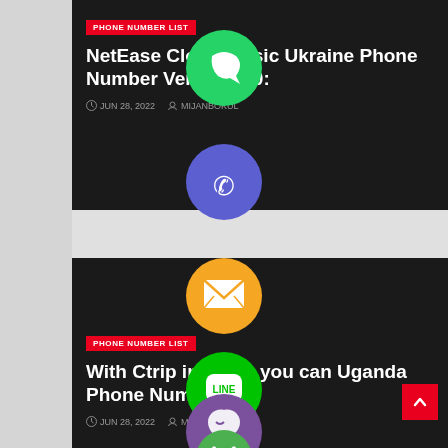[Figure (screenshot): Blog listing page with two dark-themed article cards overlaid with social sharing icons (WhatsApp green, Phone blue, Email orange, LINE green, Viber purple, close green). Each card has a red PHONE NUMBER LIST badge, white bold title text, and date/author metadata.]
PHONE NUMBER LIST
NetEase Cloud Music Ukraine Phone Number Version 5.0:
JUN 28, 2022  MIJANBOKUL
PHONE NUMBER LIST
With Ctrip in mind, you can Uganda Phone Number go
JUN 28, 2022  MIJANBOKUL